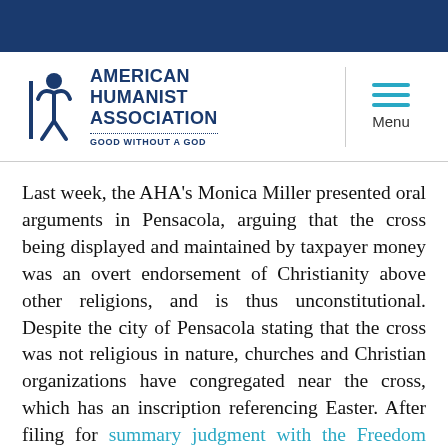[Figure (logo): American Humanist Association logo with stylized human figure and text 'AMERICAN HUMANIST ASSOCIATION' and tagline 'GOOD WITHOUT A GOD']
Last week, the AHA’s Monica Miller presented oral arguments in Pensacola, arguing that the cross being displayed and maintained by taxpayer money was an overt endorsement of Christianity above other religions, and is thus unconstitutional. Despite the city of Pensacola stating that the cross was not religious in nature, churches and Christian organizations have congregated near the cross, which has an inscription referencing Easter. After filing for summary judgment with the Freedom From Religion Foundation in April 📄 of this year, the AHA presented its arguments last Thursday with